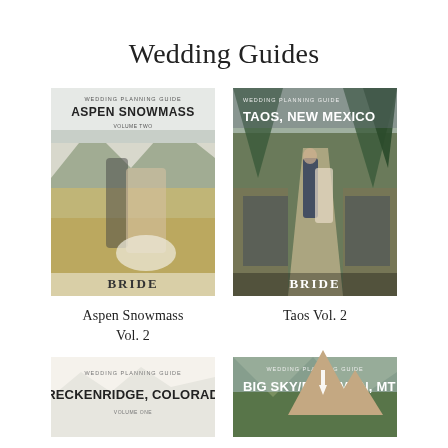Wedding Guides
[Figure (photo): Wedding planning guide cover for Aspen Snowmass featuring a couple in a mountain meadow, bride in white gown]
Aspen Snowmass Vol. 2
[Figure (photo): Wedding planning guide cover for Taos, New Mexico featuring a couple walking down a forest aisle with guests watching]
Taos Vol. 2
[Figure (photo): Partial wedding planning guide cover for Breckenridge, Colorado]
[Figure (photo): Partial wedding planning guide cover for Big Sky/Bozeman, MT]
[Figure (illustration): Mountain logo with upward arrow, beige/tan colored double mountain silhouette]